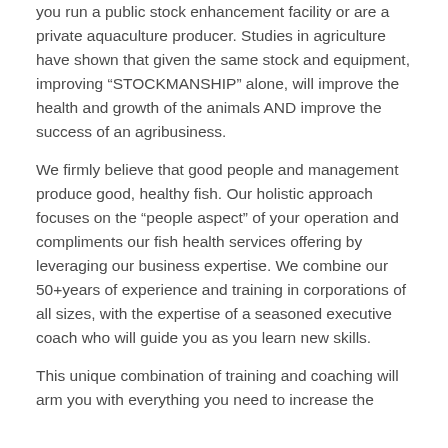you run a public stock enhancement facility or are a private aquaculture producer. Studies in agriculture have shown that given the same stock and equipment, improving “STOCKMANSHIP” alone, will improve the health and growth of the animals AND improve the success of an agribusiness.
We firmly believe that good people and management produce good, healthy fish. Our holistic approach focuses on the “people aspect” of your operation and compliments our fish health services offering by leveraging our business expertise. We combine our 50+years of experience and training in corporations of all sizes, with the expertise of a seasoned executive coach who will guide you as you learn new skills.
This unique combination of training and coaching will arm you with everything you need to increase the